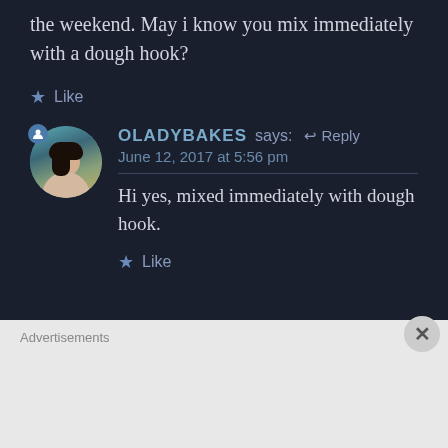the weekend. May i know you mix immediately with a dough hook?
★ Like
OLADYBAKES says: ↩ Reply
June 12, 2017 at 5:56 pm
Hi yes, mixed immediately with dough hook.
★ Like
Advertisements